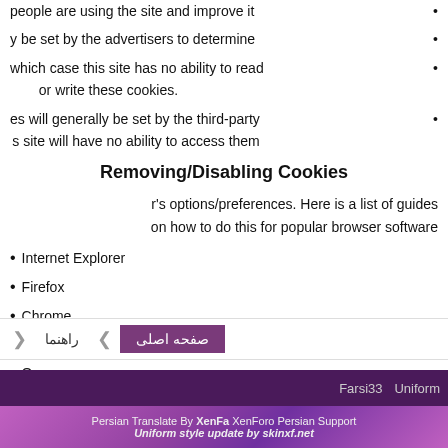people are using the site and improve it
y be set by the advertisers to determine
which case this site has no ability to read or write these cookies.
es will generally be set by the third-party s site will have no ability to access them
Removing/Disabling Cookies
r's options/preferences. Here is a list of guides on how to do this for popular browser software
Internet Explorer
Firefox
Chrome
Safari
Opera
Farsi33  Uniform  | Persian Translate By XenFa XenForo Persian Support | Uniform style update by skinxf.net